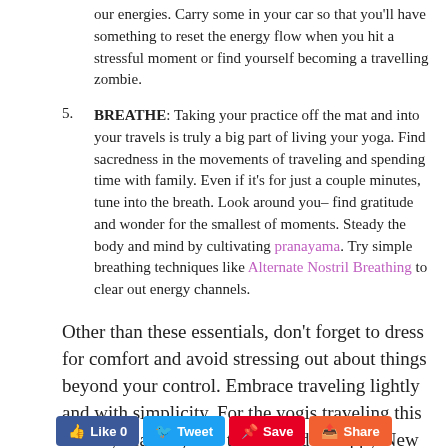our energies. Carry some in your car so that you'll have something to reset the energy flow when you hit a stressful moment or find yourself becoming a travelling zombie.
BREATHE: Taking your practice off the mat and into your travels is truly a big part of living your yoga. Find sacredness in the movements of traveling and spending time with family. Even if it's for just a couple minutes, tune into the breath. Look around you– find gratitude and wonder for the smallest of moments. Steady the body and mind by cultivating pranayama. Try simple breathing techniques like Alternate Nostril Breathing to clear out energy channels.
Other than these essentials, don't forget to dress for comfort and avoid stressing out about things beyond your control. Embrace traveling lightly and with simplicity. For the yogis traveling this holiday seasons, safe travels and a Happy New Year from us at YogaDownload.com!